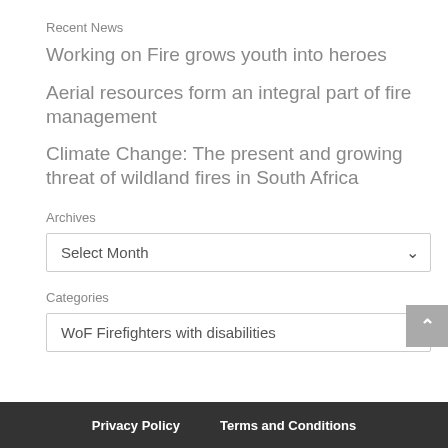Recent News
Working on Fire grows youth into heroes
Aerial resources form an integral part of fire management
Climate Change: The present and growing threat of wildland fires in South Africa
Archives
Select Month
Categories
WoF Firefighters with disabilities
Privacy Policy   Terms and Conditions